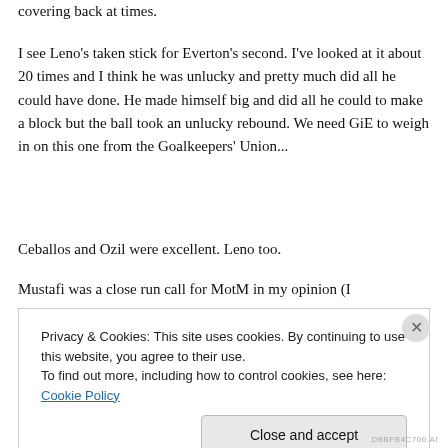covering back at times.
I see Leno's taken stick for Everton's second. I've looked at it about 20 times and I think he was unlucky and pretty much did all he could have done. He made himself big and did all he could to make a block but the ball took an unlucky rebound. We need GiE to weigh in on this one from the Goalkeepers' Union...
Ceballos and Ozil were excellent. Leno too.
Mustafi was a close run call for MotM in my opinion (I
Privacy & Cookies: This site uses cookies. By continuing to use this website, you agree to their use.
To find out more, including how to control cookies, see here: Cookie Policy
Close and accept
DBBFB4C706.AI